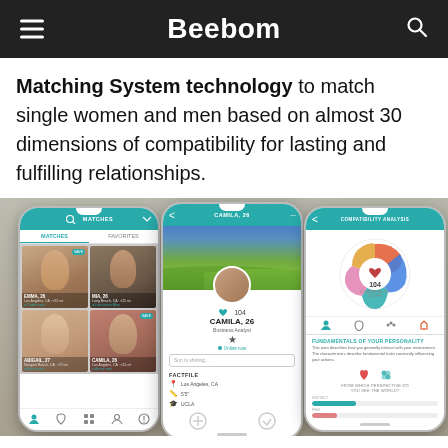Beebom
Matching System technology to match single women and men based on almost 30 dimensions of compatibility for lasting and fulfilling relationships.
[Figure (screenshot): Three smartphone screenshots of the Beebom/eHarmony dating app showing: (1) a matches grid screen with EMMA and MIA in top row, ABIGAIL and CAMILA in bottom row; (2) a profile screen for CAMILA, 26, Business Analyst with a landscape hero photo, avatar, star rating, online indicator, Bio input, and Factfile section showing Los Angeles CA, height, UCLA; (3) a Compatibility Analysis screen showing a radial/radar compatibility chart with 104 score in the center, personality fundamentals text, and slider bars.]